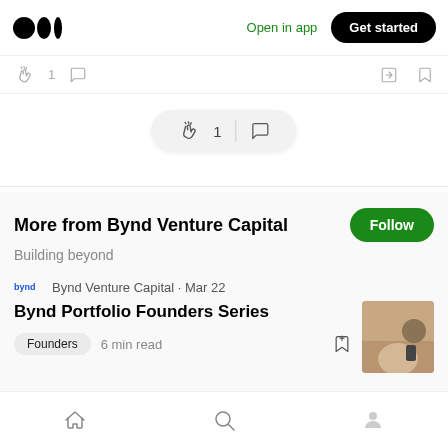[Figure (screenshot): Medium app top navigation bar with Medium logo, Open in app link, and Get started button]
[Figure (screenshot): Article action bar with clap icon showing count 1, comment icon, share icon, and bookmark icon]
[Figure (screenshot): Floating pill with clap icon count 1 and comment icon]
More from Bynd Venture Capital
Building beyond
Bynd Venture Capital · Mar 22
Bynd Portfolio Founders Series
Founders  6 min read
[Figure (photo): Small thumbnail photo of a woman sitting at a desk with a smart speaker]
[Figure (screenshot): Bottom navigation bar with home, search, and profile icons]